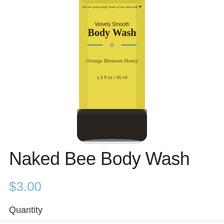[Figure (photo): Yellow squeeze tube of Naked Bee Velvety Smooth Body Wash in Orange Blossom Honey scent, 1.5 fl oz / 45 ml, with black cap at bottom. Text on tube reads: 'All the good stuff, None of the bad stuff.' Decorative teal asterisk divider on tube.]
Naked Bee Body Wash
$3.00
Quantity